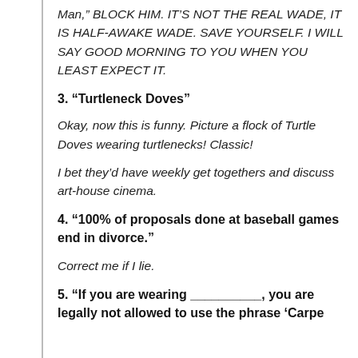Man," BLOCK HIM. IT'S NOT THE REAL WADE, IT IS HALF-AWAKE WADE. SAVE YOURSELF. I WILL SAY GOOD MORNING TO YOU WHEN YOU LEAST EXPECT IT.
3. “Turtleneck Doves”
Okay, now this is funny. Picture a flock of Turtle Doves wearing turtlenecks! Classic!
I bet they’d have weekly get togethers and discuss art-house cinema.
4. “100% of proposals done at baseball games end in divorce.”
Correct me if I lie.
5. “If you are wearing __________, you are legally not allowed to use the phrase ‘Carpe